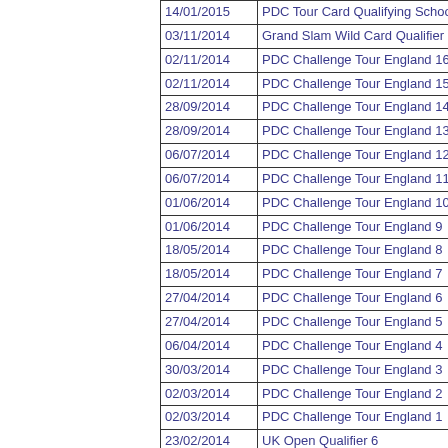| Date | Event |
| --- | --- |
| 14/01/2015 | PDC Tour Card Qualifying School |
| 03/11/2014 | Grand Slam Wild Card Qualifier |
| 02/11/2014 | PDC Challenge Tour England 16 |
| 02/11/2014 | PDC Challenge Tour England 15 |
| 28/09/2014 | PDC Challenge Tour England 14 |
| 28/09/2014 | PDC Challenge Tour England 13 |
| 06/07/2014 | PDC Challenge Tour England 12 |
| 06/07/2014 | PDC Challenge Tour England 11 |
| 01/06/2014 | PDC Challenge Tour England 10 |
| 01/06/2014 | PDC Challenge Tour England 9 |
| 18/05/2014 | PDC Challenge Tour England 8 |
| 18/05/2014 | PDC Challenge Tour England 7 |
| 27/04/2014 | PDC Challenge Tour England 6 |
| 27/04/2014 | PDC Challenge Tour England 5 |
| 06/04/2014 | PDC Challenge Tour England 4 |
| 30/03/2014 | PDC Challenge Tour England 3 |
| 02/03/2014 | PDC Challenge Tour England 2 |
| 02/03/2014 | PDC Challenge Tour England 1 |
| 23/02/2014 | UK Open Qualifier 6 |
| 22/02/2014 | UK Open Qualifier 5 |
| 09/02/2014 | UK Open Qualifier 3 |
| 02/02/2014 | UK Open Qualifier 1 |